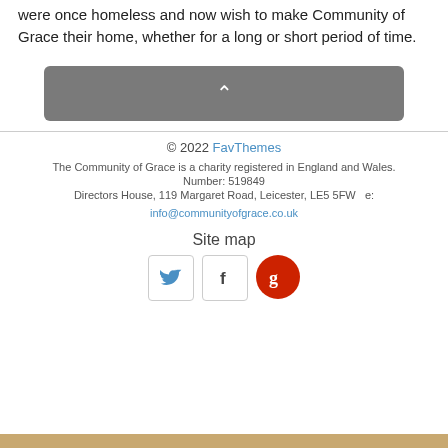were once homeless and now wish to make Community of Grace their home, whether for a long or short period of time.
[Figure (other): Gray rounded rectangle button with a white upward chevron arrow in the center]
© 2022 FavThemes
The Community of Grace is a charity registered in England and Wales.
Number: 519849
Directors House, 119 Margaret Road, Leicester, LE5 5FW   e:
info@communityofgrace.co.uk
Site map
[Figure (other): Three social media icons: Twitter bird (blue), Facebook f (outlined), Google g (red circle)]